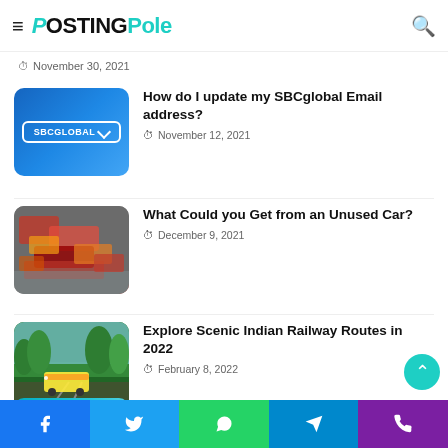PostingPole
November 30, 2021
[Figure (photo): SBCGlobal button with cursor on blue background]
How do I update my SBCglobal Email address?
November 12, 2021
[Figure (photo): Pile of scrapped/crushed cars]
What Could you Get from an Unused Car?
December 9, 2021
[Figure (photo): Train on scenic Indian railway route through green forest]
Explore Scenic Indian Railway Routes in 2022
February 8, 2022
[Figure (photo): Web Design & Development banner thumbnail]
How Website Design And Development Services Can Face Your Pain in 2022
Facebook Twitter WhatsApp Telegram Phone social bar